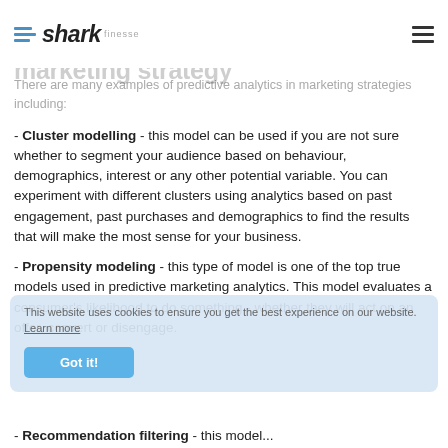shark finesse
Examples of predictive analytics in marketing strategy
There are many examples of predictive analytics in marketing strategies including:
- Cluster modelling - this model can be used if you are not sure whether to segment your audience based on behaviour, demographics, interest or any other potential variable. You can experiment with different clusters using analytics based on past engagement, past purchases and demographics to find the results that will make the most sense for your business.
- Propensity modeling - this type of model is one of the top true models used in predictive marketing analytics. This model evaluates a consumer's likelihood to do something - whether they will act on an offer, convert or disengage.
- Recommendation filtering - this model...